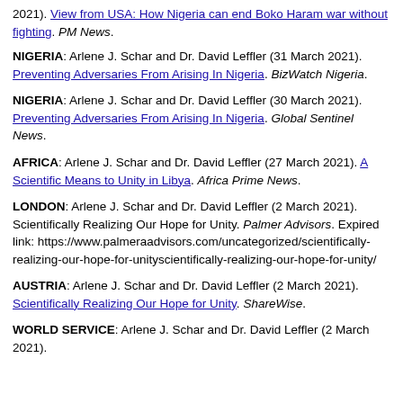2021). View from USA: How Nigeria can end Boko Haram war without fighting. PM News.
NIGERIA: Arlene J. Schar and Dr. David Leffler (31 March 2021). Preventing Adversaries From Arising In Nigeria. BizWatch Nigeria.
NIGERIA: Arlene J. Schar and Dr. David Leffler (30 March 2021). Preventing Adversaries From Arising In Nigeria. Global Sentinel News.
AFRICA: Arlene J. Schar and Dr. David Leffler (27 March 2021). A Scientific Means to Unity in Libya. Africa Prime News.
LONDON: Arlene J. Schar and Dr. David Leffler (2 March 2021). Scientifically Realizing Our Hope for Unity. Palmer Advisors. Expired link: https://www.palmeraadvisors.com/uncategorized/scientifically-realizing-our-hope-for-unityscientifically-realizing-our-hope-for-unity/
AUSTRIA: Arlene J. Schar and Dr. David Leffler (2 March 2021). Scientifically Realizing Our Hope for Unity. ShareWise.
WORLD SERVICE: Arlene J. Schar and Dr. David Leffler (2 March 2021).